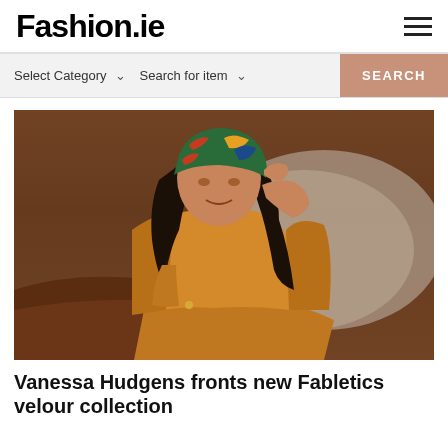Fashion.ie
Select Category   Search for item   SEARCH
[Figure (photo): Vanessa Hudgens wearing a golden-yellow velour tracksuit and a colorful patterned head wrap, sitting on a leather sofa with a fur blanket, posing with one hand raised to her head. Background shows wood-paneled wall.]
Vanessa Hudgens fronts new Fabletics velour collection